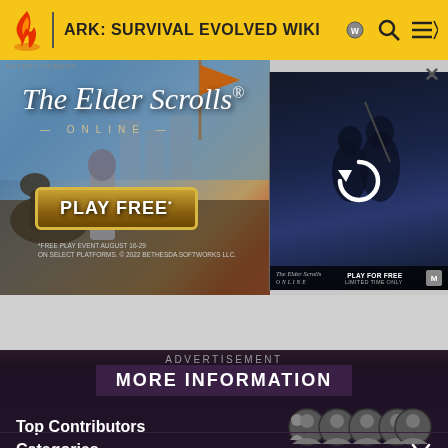ARK: SURVIVAL EVOLVED WIKI
[Figure (screenshot): Advertisement for The Elder Scrolls Online showing 'PLAY FREE' banner with medieval battle scene and a video thumbnail with refresh icon on right side]
ADVERTISEMENT
MORE INFORMATION
Top Contributors
Categories